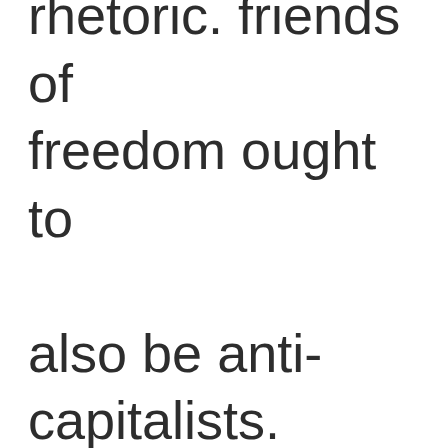rhetoric. Friends of freedom ought to also be anti-capitalists. The kind of anti-capitalism that Charter supports